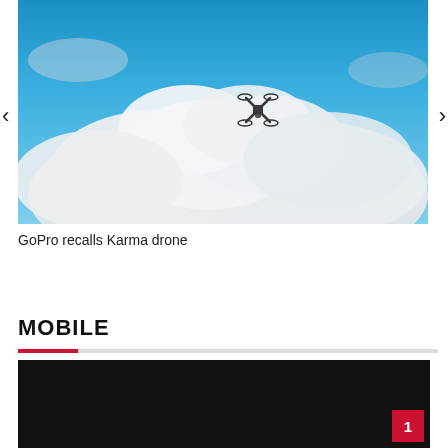[Figure (photo): A quadcopter drone flying against a blue sky with large white clouds. The drone is small and centered slightly right in the frame.]
GoPro recalls Karma drone
MOBILE
[Figure (photo): Dark/black image area with a red badge showing the number 1 in the bottom right corner.]